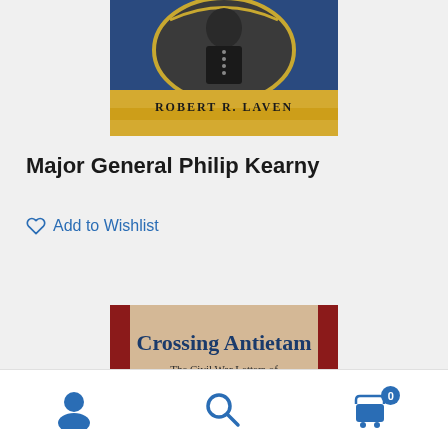[Figure (photo): Top portion of a book cover showing a Civil War era military figure in uniform, with gold decorative border and the author name 'Robert R. Laven' on a gold banner. Blue background with ornate gold frame around portrait.]
Major General Philip Kearny
Add to Wishlist
[Figure (photo): Partial view of a book cover titled 'Crossing Antietam: The Civil War Letters of Captain Henry Augustus Sand', with parchment-style background, red banner at sides, and blue serif title text.]
Navigation bar with user account icon, search icon, and shopping cart icon with badge showing 0